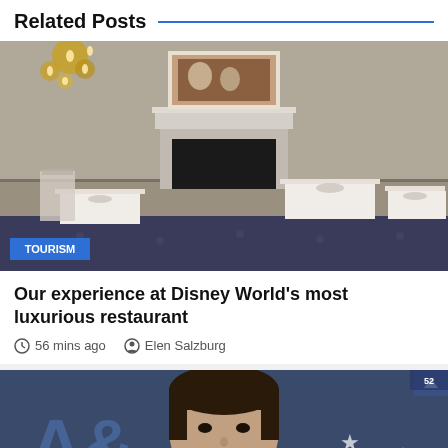Related Posts
[Figure (photo): Interior of an elegant restaurant with white-draped tables, ornate chandelier, fireplace with painting above mantel, and blue patterned floor. A blue badge reading TOURISM is overlaid in the bottom-left corner.]
Our experience at Disney World's most luxurious restaurant
56 mins ago   Elen Salzburg
[Figure (photo): Close-up of a man's face with dark hair against a blue background with stars, partially cropped.]